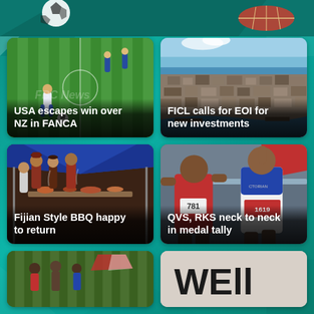[Figure (photo): Top banner with sports imagery - rugby ball and soccer ball visible]
[Figure (photo): Soccer/football match on green grass field with players in blue and white uniforms]
USA escapes win over NZ in FANCA
[Figure (photo): Aerial view of a coastal city with harbor and dense urban buildings]
FICL calls for EOI for new investments
[Figure (photo): Outdoor market BBQ scene with people cooking and selling food under a blue tent]
Fijian Style BBQ happy to return
[Figure (photo): Two male athletes at a track and field event, one in red jersey number 781, one in blue and white, numbers 781 and 1619]
QVS, RKS neck to neck in medal tally
[Figure (photo): Partial bottom-left card showing green outdoor scene with crowd]
[Figure (photo): Partial bottom-right card showing text WEll or similar in large letters on light background]